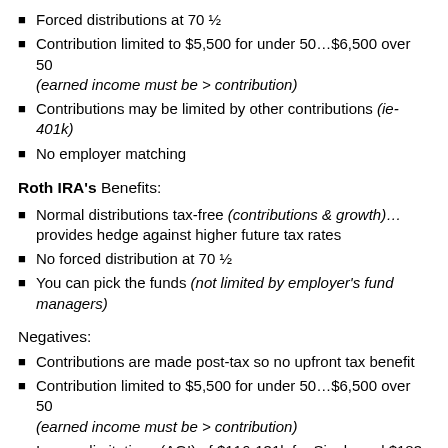Forced distributions at 70 ½
Contribution limited to $5,500 for under 50…$6,500 over 50 (earned income must be > contribution)
Contributions may be limited by other contributions (ie-401k)
No employer matching
Roth IRA's Benefits:
Normal distributions tax-free (contributions & growth)… provides hedge against higher future tax rates
No forced distribution at 70 ½
You can pick the funds (not limited by employer's fund managers)
Negatives:
Contributions are made post-tax so no upfront tax benefit
Contribution limited to $5,500 for under 50…$6,500 over 50 (earned income must be > contribution)
Income limitations (AGI) of $116-131k for Single and $183-